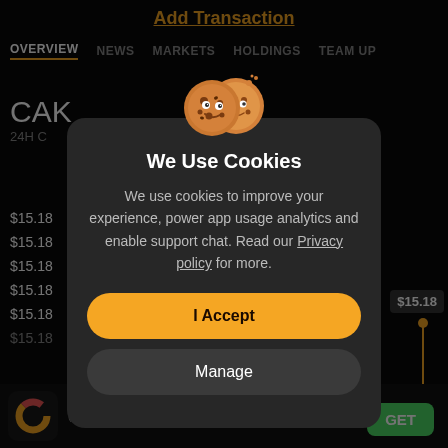Add Transaction
OVERVIEW  NEWS  MARKETS  HOLDINGS  TEAM UP
CAK
24H C
$15.18
$15.18
$15.18
$15.18
$15.18
$15.18
[Figure (screenshot): Cookie consent modal dialog overlay on a dark finance app. Shows two cookie emojis, title 'We Use Cookies', body text about cookies for analytics and support chat with a Privacy policy link, an orange 'I Accept' button, and a dark 'Manage' button.]
We Use Cookies
We use cookies to improve your experience, power app usage analytics and enable support chat. Read our Privacy policy for more.
I Accept
Manage
(935K)
GET